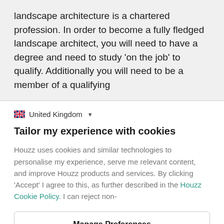landscape architecture is a chartered profession. In order to become a fully fledged landscape architect, you will need to have a degree and need to study 'on the job' to qualify. Additionally you will need to be a member of a qualifying
United Kingdom
Tailor my experience with cookies
Houzz uses cookies and similar technologies to personalise my experience, serve me relevant content, and improve Houzz products and services. By clicking 'Accept' I agree to this, as further described in the Houzz Cookie Policy. I can reject non-
Manage Preferences
Accept